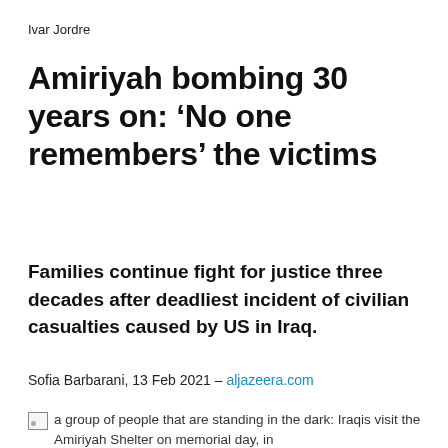Ivar Jordre
Amiriyah bombing 30 years on: ‘No one remembers’ the victims
Families continue fight for justice three decades after deadliest incident of civilian casualties caused by US in Iraq.
Sofia Barbarani, 13 Feb 2021 – aljazeera.com
a group of people that are standing in the dark: Iraqis visit the Amiriyah Shelter on memorial day, in